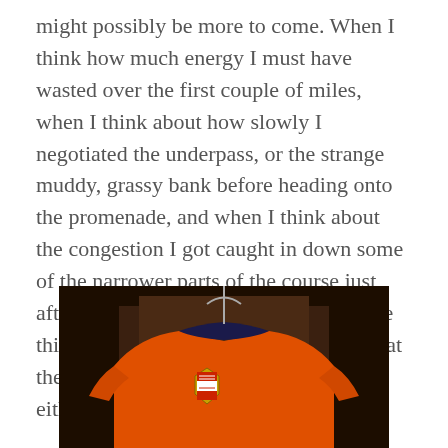might possibly be more to come. When I think how much energy I must have wasted over the first couple of miles, when I think about how slowly I negotiated the underpass, or the strange muddy, grassy bank before heading onto the promenade, and when I think about the congestion I got caught in down some of the narrower parts of the course just after half distance. I feel like I can shave this time down still further. Or blow up at the end because I ran faster elsewhere – either/or, I guess.
[Figure (photo): An orange athletic/running shirt on a hanger against a dark background, with a small shield/crest logo on the chest and navy blue collar trim.]